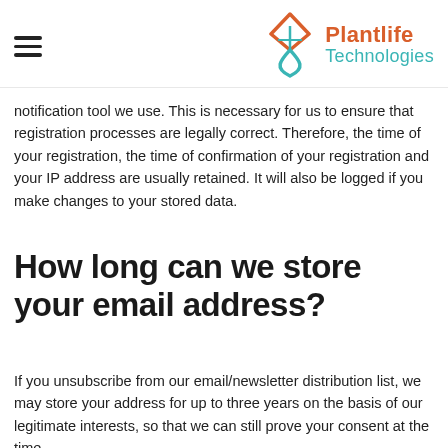Plantlife Technologies
notification tool we use. This is necessary for us to ensure that registration processes are legally correct. Therefore, the time of your registration, the time of confirmation of your registration and your IP address are usually retained. It will also be logged if you make changes to your stored data.
How long can we store your email address?
If you unsubscribe from our email/newsletter distribution list, we may store your address for up to three years on the basis of our legitimate interests, so that we can still prove your consent at the time...